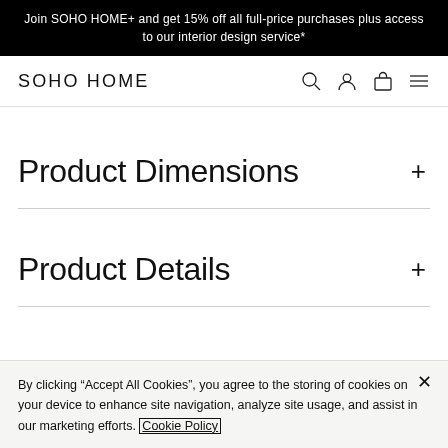Join SOHO HOME+ and get 15% off all full-price purchases plus access to our interior design service*
[Figure (logo): SOHO HOME logo and navigation icons (search, account, bag, menu)]
Product Dimensions +
Product Details +
By clicking “Accept All Cookies”, you agree to the storing of cookies on your device to enhance site navigation, analyze site usage, and assist in our marketing efforts. Cookie Policy